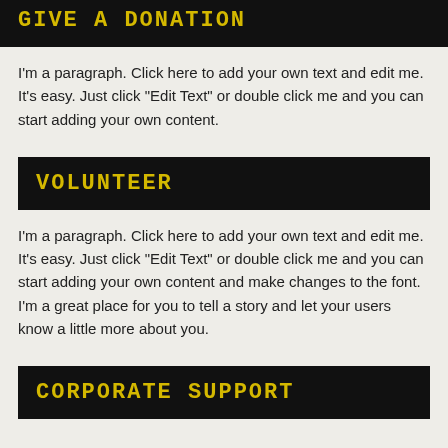GIVE A DONATION
I'm a paragraph. Click here to add your own text and edit me. It's easy. Just click “Edit Text” or double click me and you can start adding your own content.
VOLUNTEER
I'm a paragraph. Click here to add your own text and edit me. It's easy. Just click “Edit Text” or double click me and you can start adding your own content and make changes to the font. I'm a great place for you to tell a story and let your users know a little more about you.
CORPORATE SUPPORT